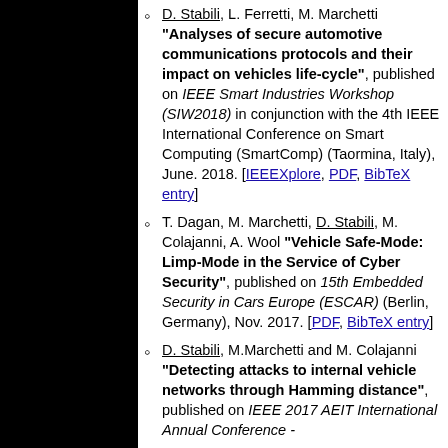D. Stabili, L. Ferretti, M. Marchetti "Analyses of secure automotive communications protocols and their impact on vehicles life-cycle", published on IEEE Smart Industries Workshop (SIW2018) in conjunction with the 4th IEEE International Conference on Smart Computing (SmartComp) (Taormina, Italy), June. 2018. [IEEEXplore, PDF, BibTeX entry]
T. Dagan, M. Marchetti, D. Stabili, M. Colajanni, A. Wool "Vehicle Safe-Mode: Limp-Mode in the Service of Cyber Security", published on 15th Embedded Security in Cars Europe (ESCAR) (Berlin, Germany), Nov. 2017. [PDF, BibTeX entry]
D. Stabili, M.Marchetti and M. Colajanni "Detecting attacks to internal vehicle networks through Hamming distance", published on IEEE 2017 AEIT International Annual Conference -